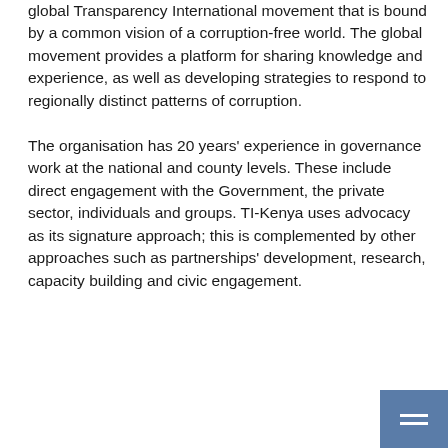global Transparency International movement that is bound by a common vision of a corruption-free world. The global movement provides a platform for sharing knowledge and experience, as well as developing strategies to respond to regionally distinct patterns of corruption.

The organisation has 20 years' experience in governance work at the national and county levels. These include direct engagement with the Government, the private sector, individuals and groups. TI-Kenya uses advocacy as its signature approach; this is complemented by other approaches such as partnerships' development, research, capacity building and civic engagement.